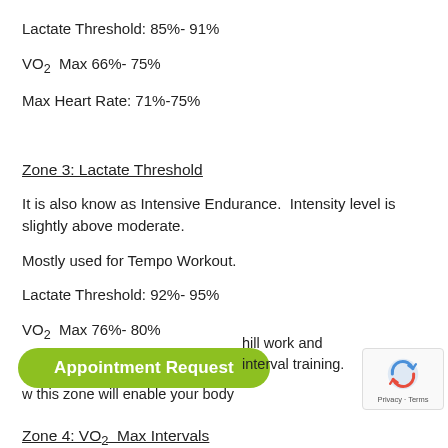Lactate Threshold: 85%- 91%
VO2 Max 66%- 75%
Max Heart Rate: 71%-75%
Zone 3: Lactate Threshold
It is also know as Intensive Endurance.  Intensity level is slightly above moderate.
Mostly used for Tempo Workout.
Lactate Threshold: 92%- 95%
VO2 Max 76%- 80%
Max Heart Rate: 76%-80%
Zone 4: VO2 Max Intervals
It is also known as Anaerobic Threshold / Race Pace. Intensity level is equivalent to your race pace.
hill work and interval training.
w this zone will enable your body